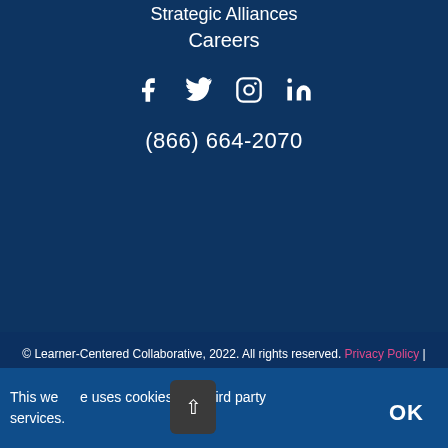Strategic Alliances
Careers
[Figure (illustration): Social media icons: Facebook, Twitter, Instagram, LinkedIn]
(866) 664-2070
© Learner-Centered Collaborative, 2022. All rights reserved. Privacy Policy | Terms of Use | Sitemap
This website uses cookies and third party services.
OK